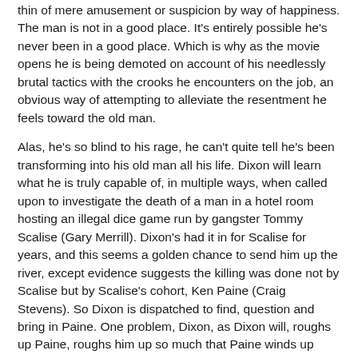thin of mere amusement or suspicion by way of happiness. The man is not in a good place. It's entirely possible he's never been in a good place. Which is why as the movie opens he is being demoted on account of his needlessly brutal tactics with the crooks he encounters on the job, an obvious way of attempting to alleviate the resentment he feels toward the old man.
Alas, he's so blind to his rage, he can't quite tell he's been transforming into his old man all his life. Dixon will learn what he is truly capable of, in multiple ways, when called upon to investigate the death of a man in a hotel room hosting an illegal dice game run by gangster Tommy Scalise (Gary Merrill). Dixon's had it in for Scalise for years, and this seems a golden chance to send him up the river, except evidence suggests the killing was done not by Scalise but by Scalise's cohort, Ken Paine (Craig Stevens). So Dixon is dispatched to find, question and bring in Paine. One problem, Dixon, as Dixon will, roughs up Paine, roughs him up so much that Paine winds up dead.
The reaction of Dixon in this moment is telling. There is a brief moment of shock, but it is alarmingly brief. And really